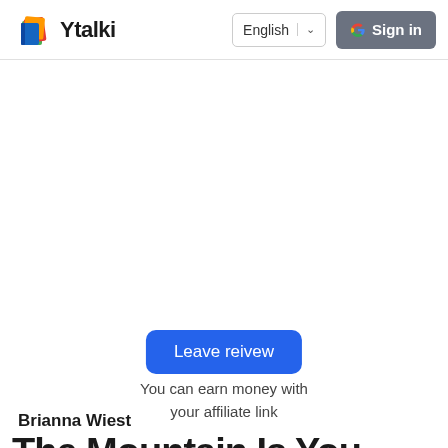Ytalki
Leave reivew
You can earn money with your affiliate link
Brianna Wiest
The Mountain Is You